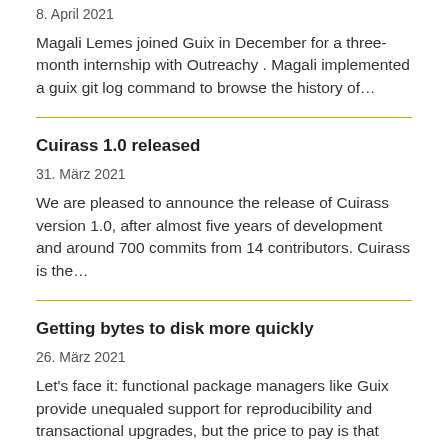8. April 2021
Magali Lemes joined Guix in December for a three-month internship with Outreachy . Magali implemented a guix git log command to browse the history of…
Cuirass 1.0 released
31. März 2021
We are pleased to announce the release of Cuirass version 1.0, after almost five years of development and around 700 commits from 14 contributors. Cuirass is the…
Getting bytes to disk more quickly
26. März 2021
Let's face it: functional package managers like Guix provide unequaled support for reproducibility and transactional upgrades, but the price to pay is that